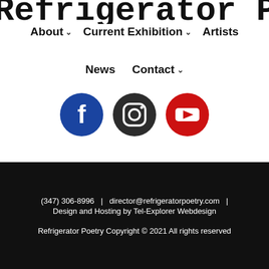Refrigerator Poetry
About ∨
Current Exhibition ∨
Artists
News
Contact ∨
[Figure (logo): Facebook, Instagram, and YouTube social media icon buttons]
(347) 306-8996   |   director@refrigeratorpoetry.com   |   Design and Hosting by Tel-Explorer Webdesign
Refrigerator Poetry Copyright © 2021 All rights reserved